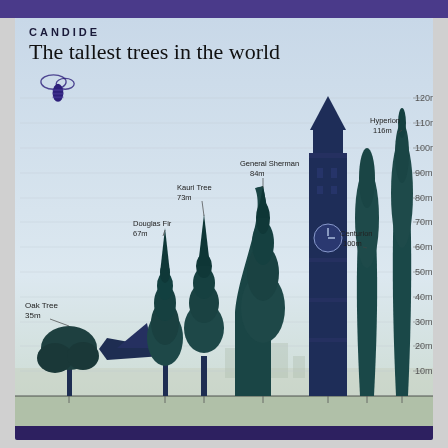CANDIDE
The tallest trees in the world
[Figure (infographic): Infographic showing comparative heights of trees and landmarks. Items shown left to right: Oak Tree (35m), a Concorde-like jet aircraft (for scale), Douglas Fir (67m), Kauri Tree (73m), General Sherman (84m), Big Ben tower (for scale ~96m), Centurion (100m), Hyperion (116m). Y-axis scale on right from 10m to 120m. Bee/wasp logo on left side. Background shows silhouette cityscape.]